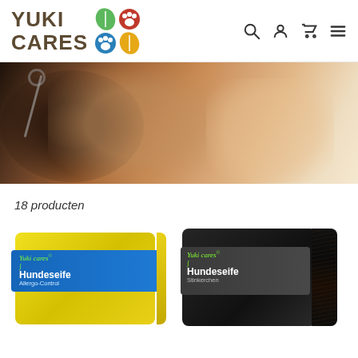[Figure (logo): Yuki Cares logo with leaf and paw print icons in green, red, blue, and gold colors, with navigation icons (search, user, cart, menu)]
[Figure (photo): Close-up photo of a person with a dog, warm brown tones, dog being examined or groomed]
18 producten
[Figure (photo): Yuki cares Hundeseife Allergo-Control - yellow soap bar with blue label]
[Figure (photo): Yuki cares Hundeseife Stinkerchen - dark charcoal soap bar with dark grey label]